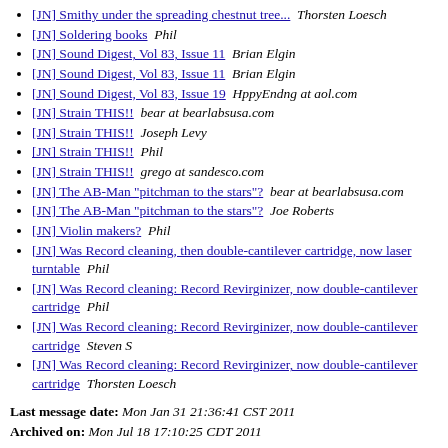[JN] Smithy under the spreading chestnut tree...  Thorsten Loesch
[JN] Soldering books  Phil
[JN] Sound Digest, Vol 83, Issue 11  Brian Elgin
[JN] Sound Digest, Vol 83, Issue 11  Brian Elgin
[JN] Sound Digest, Vol 83, Issue 19  HppyEndng at aol.com
[JN] Strain THIS!!  bear at bearlabsusa.com
[JN] Strain THIS!!  Joseph Levy
[JN] Strain THIS!!  Phil
[JN] Strain THIS!!  grego at sandesco.com
[JN] The AB-Man "pitchman to the stars"?  bear at bearlabsusa.com
[JN] The AB-Man "pitchman to the stars"?  Joe Roberts
[JN] Violin makers?  Phil
[JN] Was Record cleaning, then double-cantilever cartridge, now laser turntable  Phil
[JN] Was Record cleaning: Record Revirginizer, now double-cantilever cartridge  Phil
[JN] Was Record cleaning: Record Revirginizer, now double-cantilever cartridge  Steven S
[JN] Was Record cleaning: Record Revirginizer, now double-cantilever cartridge  Thorsten Loesch
Last message date: Mon Jan 31 21:36:41 CST 2011
Archived on: Mon Jul 18 17:10:25 CDT 2011